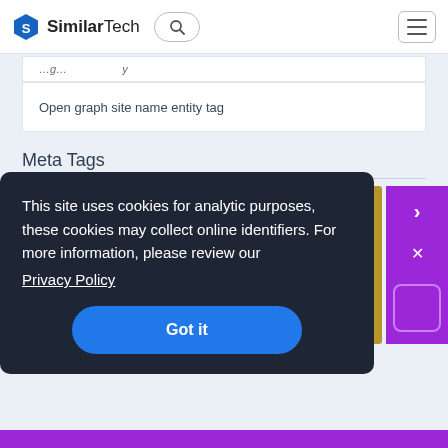SimilarTech
Open graph site name entity tag
Meta Tags
[Figure (screenshot): Screenshot thumbnail showing a gold/brown background with an envelope icon containing a bird logo]
This site uses cookies for analytic purposes, these cookies may collect online identifiers. For more information, please review our Privacy Policy
Got it